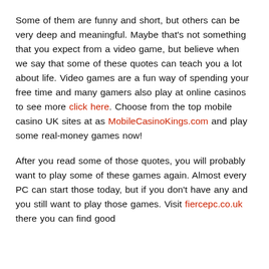Some of them are funny and short, but others can be very deep and meaningful. Maybe that's not something that you expect from a video game, but believe when we say that some of these quotes can teach you a lot about life. Video games are a fun way of spending your free time and many gamers also play at online casinos to see more click here. Choose from the top mobile casino UK sites at as MobileCasinoKings.com and play some real-money games now!
After you read some of those quotes, you will probably want to play some of these games again. Almost every PC can start those today, but if you don't have any and you still want to play those games. Visit fiercepc.co.uk there you can find good